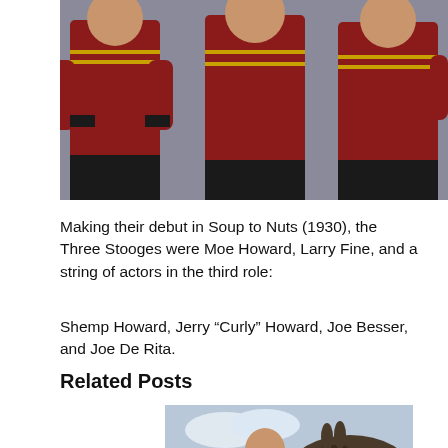[Figure (photo): Three men in matching red bellhop/usher uniforms with gold trim and black pants, posing against a gray background. The Three Stooges.]
Making their debut in Soup to Nuts (1930), the Three Stooges were Moe Howard, Larry Fine, and a string of actors in the third role:
Shemp Howard, Jerry “Curly” Howard, Joe Besser, and Joe De Rita.
Related Posts
[Figure (photo): A person in costume laughing, with a donkey or horse nearby, outdoors with a cloudy sky.]